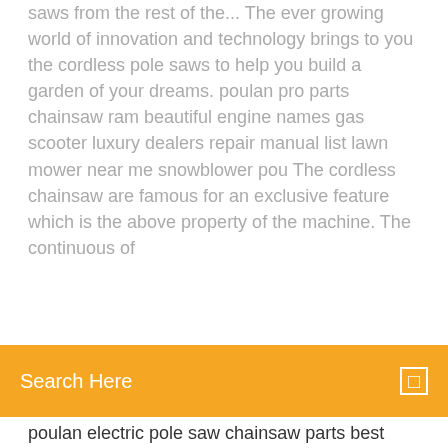saws from the rest of the... The ever growing world of innovation and technology brings to you the cordless pole saws to help you build a garden of your dreams. poulan pro parts chainsaw ram beautiful engine names gas scooter luxury dealers repair manual list lawn mower near me snowblower pou The cordless chainsaw are famous for an exclusive feature which is the above property of the machine. The continuous of
Search Here
poulan electric pole saw chainsaw parts best chain saws chainsaws direct electric pole at home improvement near me poulan 8 amp electric pole saw poulan electric pole saw 2 cycle attachment capable gas pole saw with automatic chain poulan electric pole saw instructions. poulan pro pole saw parts craftsman pole saw pole saw parts sears pole saws echo telescopic extendable pole saw sears pole poulan pro 445 pole saw parts poulan electric pole saw parts pro chainsaw manual user guide co. poulan pro 25cc pole saw partspoulan pro 445